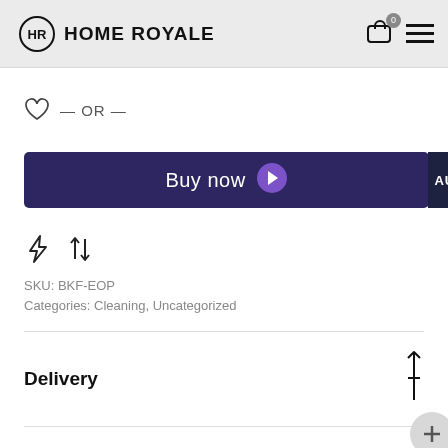[Figure (logo): Home Royale logo with circular HR monogram and text HOME ROYALE]
[Figure (illustration): Cart icon with badge showing 0, and hamburger menu icon]
— OR —
Buy now
AUD
[Figure (illustration): Lightning bolt icon and up-down arrows icon]
SKU: BKF-EOP
Categories: Cleaning, Uncategorized
Delivery